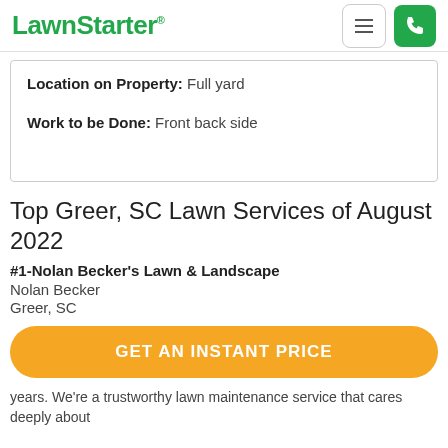LawnStarter
Location on Property: Full yard
Work to be Done: Front back side
Top Greer, SC Lawn Services of August 2022
#1-Nolan Becker's Lawn & Landscape
Nolan Becker
Greer, SC
GET AN INSTANT PRICE
years. We're a trustworthy lawn maintenance service that cares deeply about